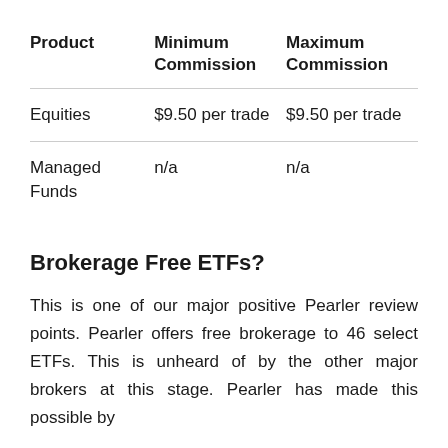| Product | Minimum Commission | Maximum Commission |
| --- | --- | --- |
| Equities | $9.50 per trade | $9.50 per trade |
| Managed Funds | n/a | n/a |
Brokerage Free ETFs?
This is one of our major positive Pearler review points. Pearler offers free brokerage to 46 select ETFs. This is unheard of by the other major brokers at this stage. Pearler has made this possible by